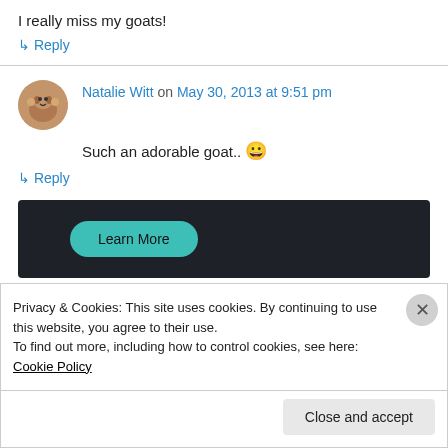I really miss my goats!
↳ Reply
Natalie Witt on May 30, 2013 at 9:51 pm
Such an adorable goat.. 😀
↳ Reply
[Figure (screenshot): Dark banner ad with a teal 'Learn More' button]
Privacy & Cookies: This site uses cookies. By continuing to use this website, you agree to their use. To find out more, including how to control cookies, see here: Cookie Policy
Close and accept